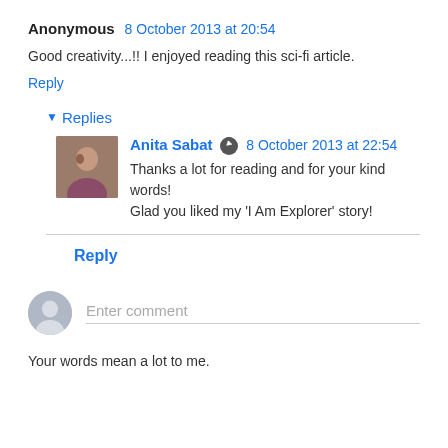Anonymous  8 October 2013 at 20:54
Good creativity...!! I enjoyed reading this sci-fi article.
Reply
▾ Replies
Anita Sabat  ✏  8 October 2013 at 22:54
Thanks a lot for reading and for your kind words! Glad you liked my 'I Am Explorer' story!
Reply
Enter comment
Your words mean a lot to me.